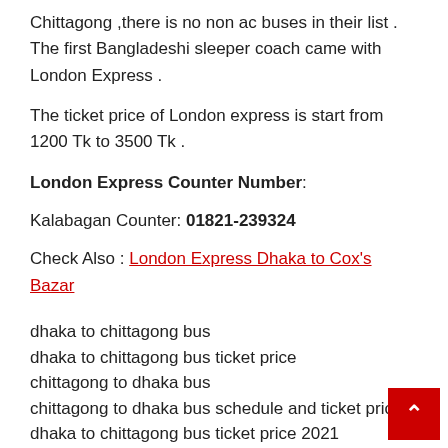Chittagong ,there is no non ac buses in their list . The first Bangladeshi sleeper coach came with London Express .
The ticket price of London express is start from 1200 Tk to 3500 Tk .
London Express Counter Number:
Kalabagan Counter: 01821-239324
Check Also : London Express Dhaka to Cox's Bazar
dhaka to chittagong bus
dhaka to chittagong bus ticket price
chittagong to dhaka bus
chittagong to dhaka bus schedule and ticket price
dhaka to chittagong bus ticket price 2021
london express bus dhaka to cox's bazar ticket price
dhaka to sitakunda bus ticket price